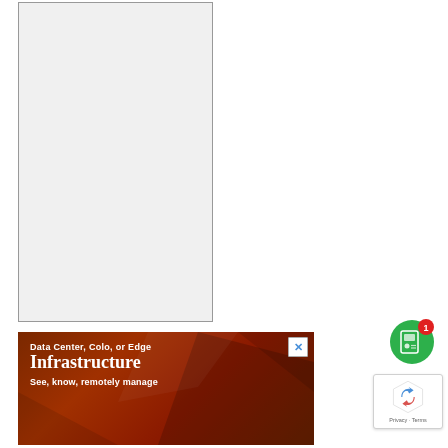[Figure (other): Light gray rectangular placeholder box with a thin border, representing an advertisement or image placeholder area]
[Figure (other): Advertisement banner with dark brown/rust geometric polygon background. Text reads: 'Data Center, Colo, or Edge Infrastructure See, know, remotely manage' with a close (X) button in the upper right corner]
[Figure (other): Green circular magazine/reader app button with a badge showing the number 1]
[Figure (other): Google reCAPTCHA privacy badge showing the reCAPTCHA logo and text 'Privacy - Terms']